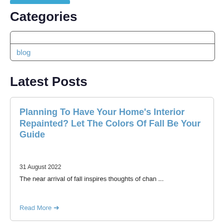Categories
blog
Latest Posts
Planning To Have Your Home's Interior Repainted? Let The Colors Of Fall Be Your Guide
31 August 2022
The near arrival of fall inspires thoughts of chan ...
Read More →